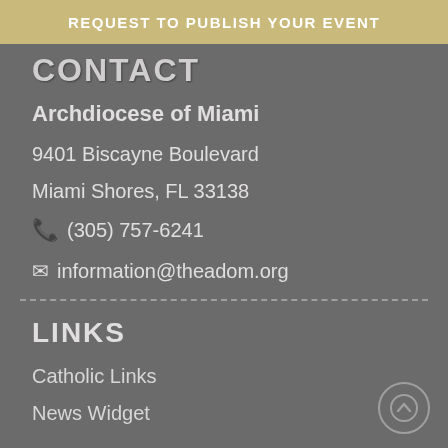REQUEST TO PUBLISH YOUR EVENT
CONTACT
Archdiocese of Miami
9401 Biscayne Boulevard
Miami Shores, FL 33138
(305) 757-6241
information@theadom.org
LINKS
Catholic Links
News Widget